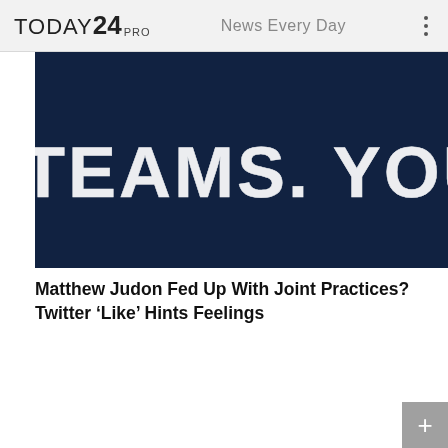TODAY24PRO   News Every Day
[Figure (photo): Dark navy blue background with large bold white text reading 'TEAMS. YOUR WAY.' — partial text visible, partially cut off on left side.]
Matthew Judon Fed Up With Joint Practices? Twitter ‘Like’ Hints Feelings